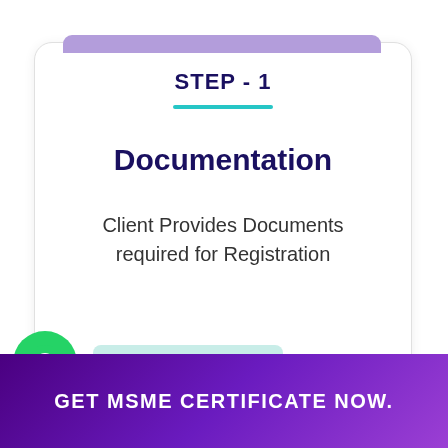STEP - 1
Documentation
Client Provides Documents required for Registration
Questions? Let's Chat
GET MSME CERTIFICATE NOW.